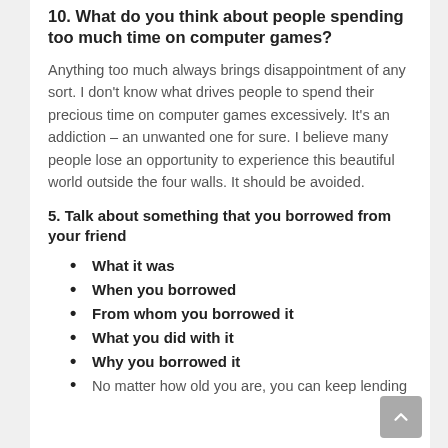10. What do you think about people spending too much time on computer games?
Anything too much always brings disappointment of any sort. I don't know what drives people to spend their precious time on computer games excessively. It's an addiction – an unwanted one for sure. I believe many people lose an opportunity to experience this beautiful world outside the four walls. It should be avoided.
5. Talk about something that you borrowed from your friend
What it was
When you borrowed
From whom you borrowed it
What you did with it
Why you borrowed it
No matter how old you are, you can keep lending